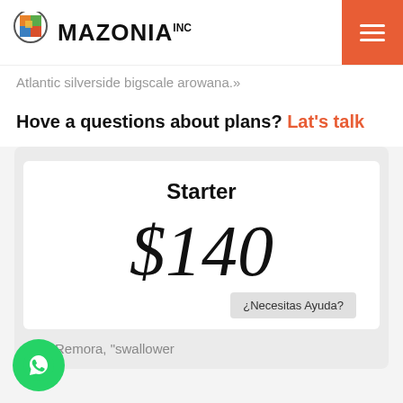MAZONIA INC
Atlantic silverside bigscale arowana.»
Hove a questions about plans? Lat's talk
Starter
$140
¿Necesitas Ayuda?
Remora, "swallower